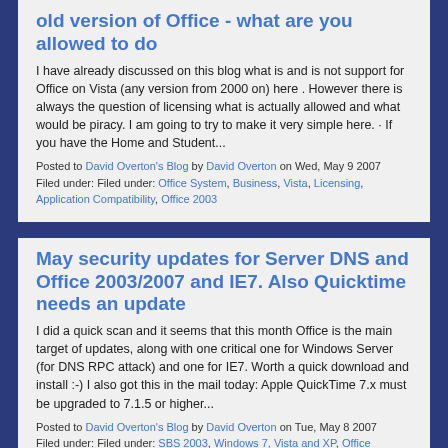old version of Office - what are you allowed to do
I have already discussed on this blog what is and is not support for Office on Vista (any version from 2000 on) here . However there is always the question of licensing what is actually allowed and what would be piracy. I am going to try to make it very simple here. · If you have the Home and Student...
Posted to David Overton's Blog by David Overton on Wed, May 9 2007
Filed under: Filed under: Office System, Business, Vista, Licensing, Application Compatibility, Office 2003
May security updates for Server DNS and Office 2003/2007 and IE7. Also Quicktime needs an update
I did a quick scan and it seems that this month Office is the main target of updates, along with one critical one for Windows Server (for DNS RPC attack) and one for IE7. Worth a quick download and install :-) I also got this in the mail today: Apple QuickTime 7.x must be upgraded to 7.1.5 or higher...
Posted to David Overton's Blog by David Overton on Tue, May 8 2007
Filed under: Filed under: SBS 2003, Windows 7, Vista and XP, Office System, Support and Tools, Security, Exchange, Windows Server 2003, Windows Client, Windows XP, Office 2007, SBS 2003 R2, Word, Outlook, PowerPoint, Office 2003